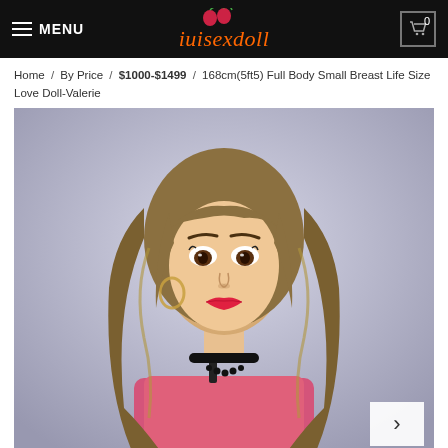MENU | iuisexdoll | 0
Home / By Price / $1000-$1499 / 168cm(5ft5) Full Body Small Breast Life Size Love Doll-Valerie
[Figure (photo): Product photo of a life-size love doll named Valerie with long wavy brown-blonde hair, wearing a pink knit top, black choker necklace, and hoop earrings, shown from shoulders up against a light grey/purple background.]